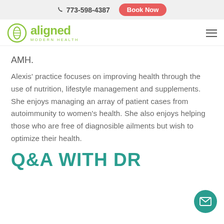773-598-4387  Book Now
[Figure (logo): Aligned Modern Health logo — green circle with spine icon and green 'aligned' text with 'MODERN HEALTH' subtitle]
AMH.
Alexis' practice focuses on improving health through the use of nutrition, lifestyle management and supplements. She enjoys managing an array of patient cases from autoimmunity to women's health. She also enjoys helping those who are free of diagnosible ailments but wish to optimize their health.
Q&A WITH DR